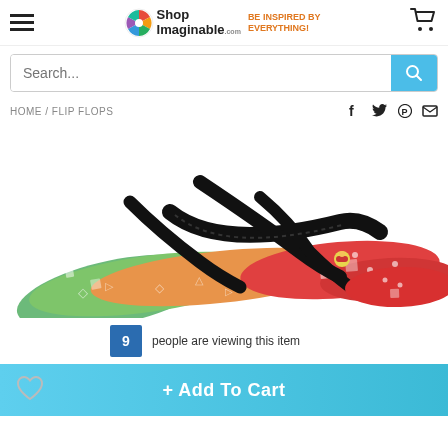Shop Imaginable - BE INSPIRED BY EVERYTHING!
Search...
HOME / FLIP FLOPS
[Figure (photo): Two pairs of colorful flip flops with geometric pattern designs on a white background. One pair has a green-to-orange gradient footbed and one has a red footbed with colorful llama/alpaca design.]
9 people are viewing this item
+ Add To Cart